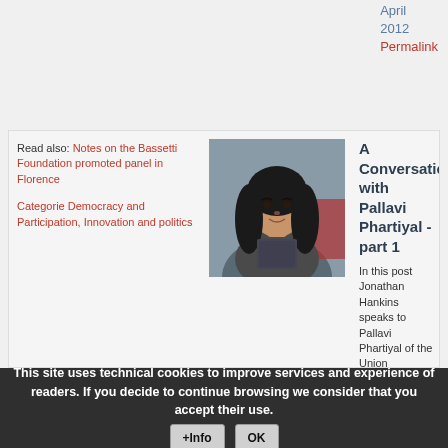April 2012
Permalink
Read also: Notes on the Bassetti Foundation promoted panel in Florence
Categorie Democracy and Participation, Innovation and politics
[Figure (photo): Portrait photo of Pallavi Phartiyal, a young woman with long dark hair, wearing a grey jacket]
A Conversation with Pallavi Phartiyal - part 1
In this post Jonathan Hankins speaks to Pallavi Phartiyal of the Union
This site uses technical cookies to improve services and experience of readers. If you decide to continue browsing we consider that you accept their use.